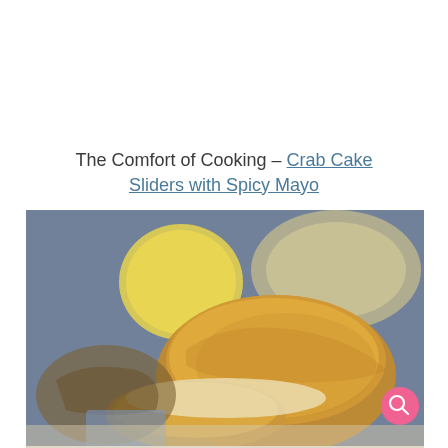The Comfort of Cooking – Crab Cake Sliders with Spicy Mayo
[Figure (photo): Close-up photo of crab cake sliders with buns and a lemon in the background on a blue-gray surface. A pink circular search button icon is visible in the lower right corner of the image.]